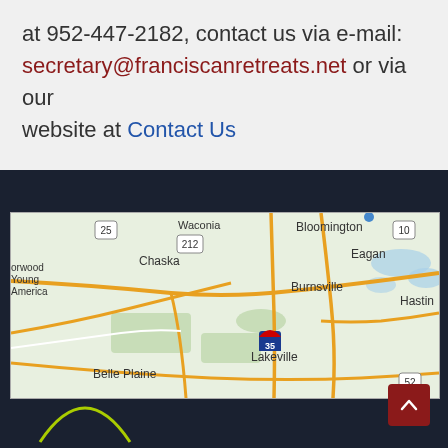at 952-447-2182, contact us via e-mail: secretary@franciscanretreats.net or via our website at Contact Us
[Figure (map): Google Maps screenshot showing the Minneapolis-Saint Paul south metro area including Bloomington, Eagan, Burnsville, Lakeville, Chaska, Waconia, Belle Plaine, and Hastings. Shows highways including 212, 25, 35, 10, and 52.]